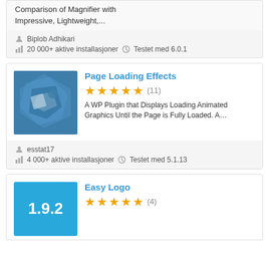Comparison of Magnifier with Impressive, Lightweight,...
Biplob Adhikari
20 000+ aktive installasjoner  Testet med 6.0.1
Page Loading Effects
[Figure (illustration): WordPress plugin icon for Page Loading Effects, blue abstract geometric shapes]
★★★★★ (11)
A WP Plugin that Displays Loading Animated Graphics Until the Page is Fully Loaded. A...
esstat17
4 000+ aktive installasjoner  Testet med 5.1.13
Easy Logo
[Figure (other): Version number 1.9.2 shown on bright blue background, Easy Logo plugin]
★★★★★ (4)